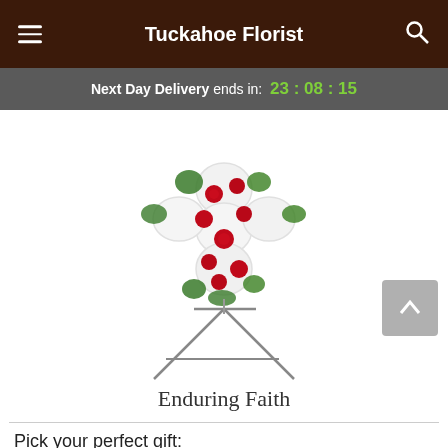Tuckahoe Florist
Next Day Delivery ends in: 23 : 08 : 15
[Figure (photo): A white floral cross arrangement with red roses and green foliage, displayed on a metal easel stand. Product name: Enduring Faith.]
Enduring Faith
Pick your perfect gift: